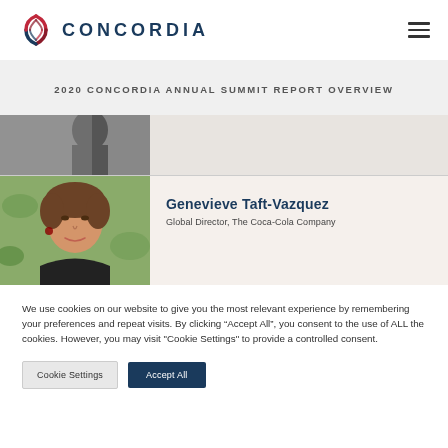[Figure (logo): Concordia logo: circular swirl graphic in red and dark colors, followed by the text CONCORDIA in dark navy spaced lettering]
[Figure (other): Hamburger menu icon — three horizontal dark lines]
2020 CONCORDIA ANNUAL SUMMIT REPORT OVERVIEW
[Figure (photo): Partial black and white photo of a person, cropped at top]
[Figure (photo): Photo of Genevieve Taft-Vazquez, a woman with curly brown hair outdoors]
Genevieve Taft-Vazquez
Global Director, The Coca-Cola Company
We use cookies on our website to give you the most relevant experience by remembering your preferences and repeat visits. By clicking “Accept All”, you consent to the use of ALL the cookies. However, you may visit "Cookie Settings" to provide a controlled consent.
Cookie Settings
Accept All